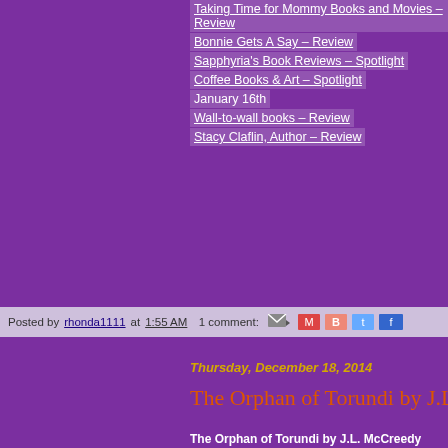Taking Time for Mommy Books and Movies – Review
Bonnie Gets A Say – Review
Sapphyria's Book Reviews – Spotlight
Coffee Books & Art – Spotlight
January 16th
Wall-to-wall books – Review
Stacy Claflin, Author – Review
Posted by rhonda1111 at 1:55 AM   1 comment:
Thursday, December 18, 2014
The Orphan of Torundi by J.L. McCreedy
The Orphan of Torundi by J.L. McCreedy
Clean YA Suspense/F
205 Pages
To find the truth, sh
lie ....
Orphaned as an infa
pharmaceutical resea